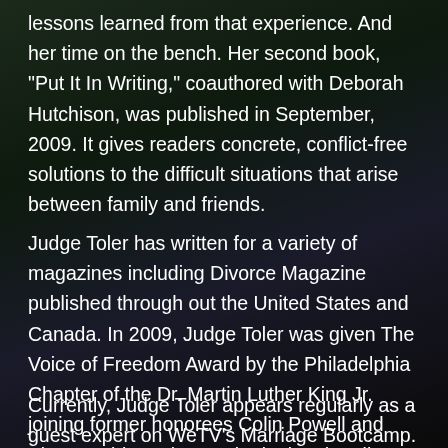lessons learned from that experience. And her time on the bench. Her second book, "Put It In Writing," coauthored with Deborah Hutchison, was published in September, 2009. It gives readers concrete, conflict-free solutions to the difficult situations that arise between family and friends.
Judge Toler has written for a variety of magazines including Divorce Magazine published through out the United States and Canada. In 2009, Judge Toler was given The Voice of Freedom Award by the Philadelphia Chapter of the Dr. Martin Luther King Jr. joining former honorees Colin Powell and Vice President Al Gore, in ringing the Liberty Bell on Martin Luther King Day.
Currently, Judge Toler appears regularly as a guest expert on WeTV's Marriage Bootcamp. Born on October